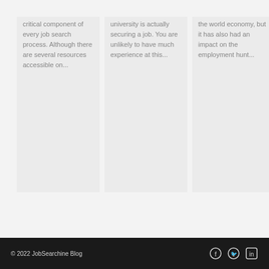critical component of every job search process. Although there are several resources accessible on...
university is actually securing a job. You are unlikely to have much experience at this...
the world economy, but it has also had an impact on the employment hunt...
© 2022 JobSearchine Blog